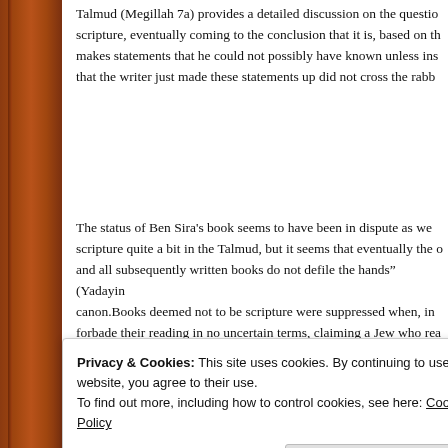Talmud (Megillah 7a) provides a detailed discussion on the question of scripture, eventually coming to the conclusion that it is, based on the makes statements that he could not possibly have known unless ins that the writer just made these statements up did not cross the rabb
The status of Ben Sira's book seems to have been in dispute as we scripture quite a bit in the Talmud, but it seems that eventually the o and all subsequently written books do not defile the hands” (Yadayin canon.Books deemed not to be scripture were suppressed when, in forbade their reading in no uncertain terms, claiming a Jew who rea to Come” (Sanhedrin 10:1). Fearing the loss of this prize, Jews stop of them, and eventually they were lost.
[Figure (photo): Three circular profile photo avatars of people (two women, one man) and a blue circle with a plus sign, arranged in a row]
Privacy & Cookies: This site uses cookies. By continuing to use this website, you agree to their use.
To find out more, including how to control cookies, see here: Cookie Policy
Close and accept